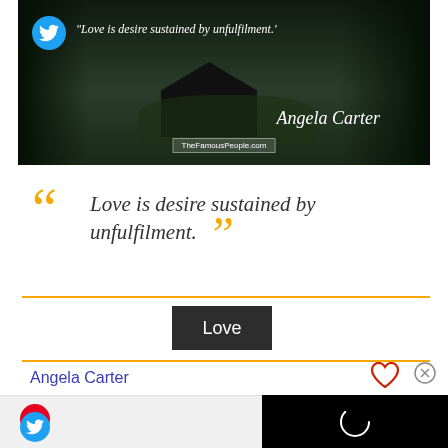[Figure (photo): Dark atmospheric photo of a wooden cabin/chalet in a forest with mountains, overlaid with a Twitter bird icon and the quote text in italic white: "Love is desire sustained by unfulfilment.' Angela Carter" and a TheFamousPeople.com watermark]
“Love is desire sustained by unfulfilment. ”
Love
Angela Carter